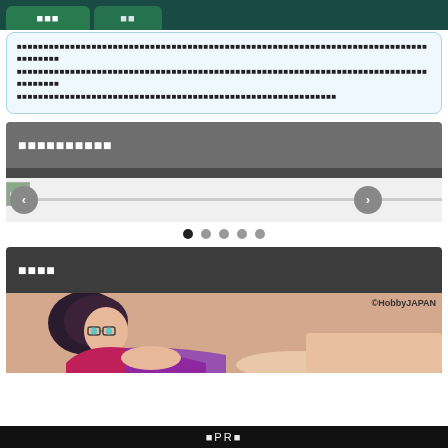[Figure (screenshot): Tab bar with two green buttons containing Japanese text on dark teal background]
■■■■■■■■■■■■■■■■■■■■■■■■■■■■■■■■■■■■■■■■■■■■■■■■■■■■■■■■■■■■■■■■■■■■■■■■■■■■■■■■■■■■■■■■■■■■■■■■■■■■■■■■■■■■■■■■■■■■■■■■■■■■■■■■■■■■■■■■■■■■■■■■■■■■■■■■■■■■■■■■
■■■■■■■■■■
[Figure (screenshot): Slider UI with left and right navigation buttons and a thumbnail on the left]
[Figure (other): Five dot pagination indicators, first dot filled black, rest grey]
■■■■
[Figure (illustration): Anime illustration of a girl with glasses in a swimsuit. Watermark ©HobbyJAPAN in top right.]
■PR■